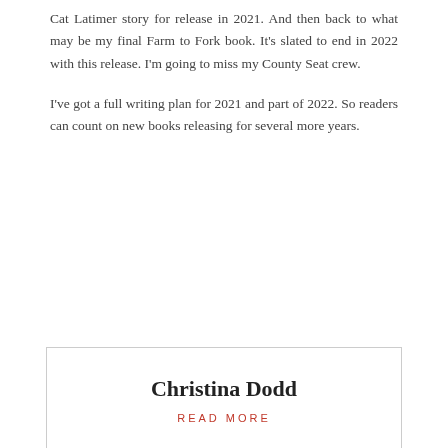Cat Latimer story for release in 2021. And then back to what may be my final Farm to Fork book. It's slated to end in 2022 with this release. I'm going to miss my County Seat crew.

I've got a full writing plan for 2021 and part of 2022. So readers can count on new books releasing for several more years.
Christina Dodd
READ MORE